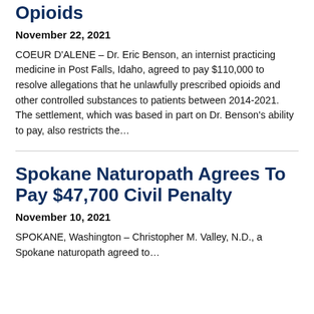Opioids
November 22, 2021
COEUR D'ALENE – Dr. Eric Benson, an internist practicing medicine in Post Falls, Idaho, agreed to pay $110,000 to resolve allegations that he unlawfully prescribed opioids and other controlled substances to patients between 2014-2021. The settlement, which was based in part on Dr. Benson's ability to pay, also restricts the…
Spokane Naturopath Agrees To Pay $47,700 Civil Penalty
November 10, 2021
SPOKANE, Washington – Christopher M. Valley, N.D., a Spokane naturopath agreed to…